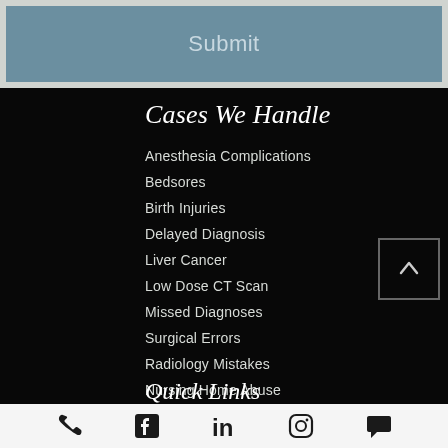[Figure (screenshot): Submit button in a steel blue/teal color on a light gray background, part of a web form]
Cases We Handle
Anesthesia Complications
Bedsores
Birth Injuries
Delayed Diagnosis
Liver Cancer
Low Dose CT Scan
Missed Diagnoses
Surgical Errors
Radiology Mistakes
Nursing Home Abuse
Quick Links
[Figure (infographic): Social media and contact icons row: phone, Facebook, LinkedIn, Instagram, chat/message]